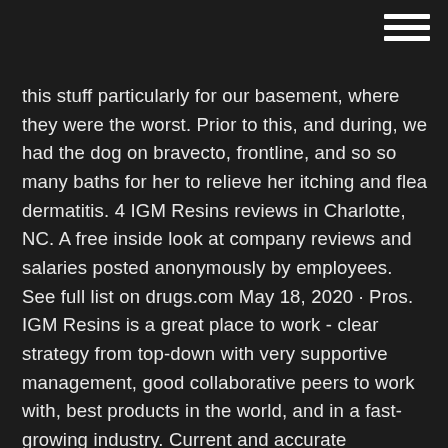[Figure (other): Hamburger menu icon with three horizontal white lines in top-right corner]
this stuff particularly for our basement, where they were the worst. Prior to this, and during, we had the dog on bravecto, frontline, and so so many baths for her to relieve her itching and flea dermatitis. 4 IGM Resins reviews in Charlotte, NC. A free inside look at company reviews and salaries posted anonymously by employees. See full list on drugs.com May 18, 2020 · Pros. IGM Resins is a great place to work - clear strategy from top-down with very supportive management, good collaborative peers to work with, best products in the world, and in a fast-growing industry. Current and accurate information for patients about image-guided radiation therapy (IGRT). Learn about the medical professionals who may be involved with this procedure, the equipment used and how the procedure is performed. Martin's I.G. Regulator